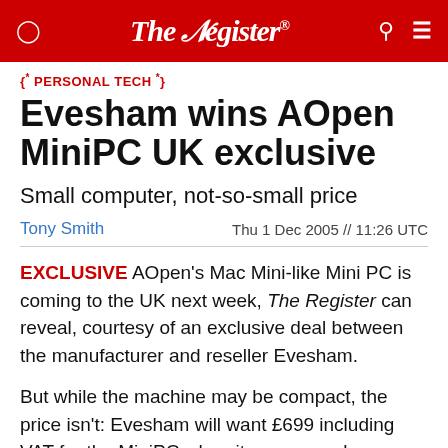The Register
{* PERSONAL TECH *}
Evesham wins AOpen MiniPC UK exclusive
Small computer, not-so-small price
Tony Smith   Thu 1 Dec 2005 // 11:26 UTC
EXCLUSIVE AOpen's Mac Mini-like Mini PC is coming to the UK next week, The Register can reveal, courtesy of an exclusive deal between the manufacturer and reseller Evesham.
But while the machine may be compact, the price isn't: Evesham will want £699 including VAT for the MiniPC when it goes on sale on Monday, 5 December. That's